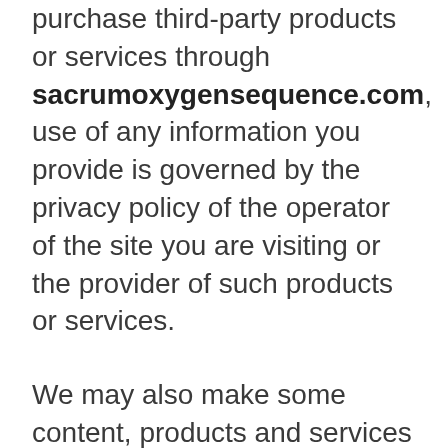purchase third-party products or services through sacrumoxygensequence.com, use of any information you provide is governed by the privacy policy of the operator of the site you are visiting or the provider of such products or services.
We may also make some content, products and services available through our Site or by emailing messages to you through cooperative relationships with third-party providers, where the brands of our provider partner appear on